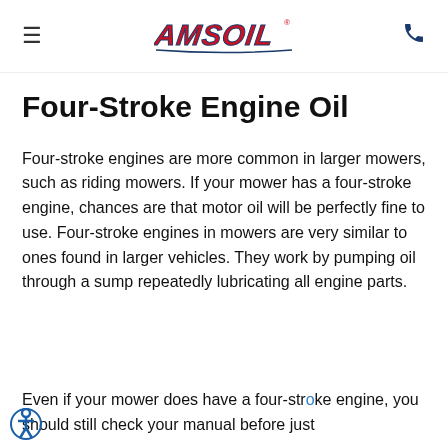AMSOIL — Four-Stroke Engine Oil
Four-Stroke Engine Oil
Four-stroke engines are more common in larger mowers, such as riding mowers. If your mower has a four-stroke engine, chances are that motor oil will be perfectly fine to use. Four-stroke engines in mowers are very similar to ones found in larger vehicles. They work by pumping oil through a sump repeatedly lubricating all engine parts.
[Figure (screenshot): Chat widget overlay with a woman's photo, 'Welcome to Our Amsoil Store!' header and 'So glad you are here!' message, plus an AMSOIL Chat With Us badge and an X close button.]
Even if your mower does have a four-stroke engine, you should still check your manual before just